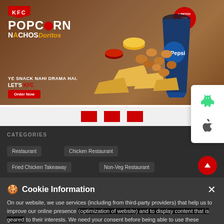[Figure (screenshot): KFC Popcorn Nachos Doritos promotional banner with food imagery. Text: KFC POPCORN NACHOS Doritos. YE SNACK NAHI DRAMA HAI. LET'S KFC. Order Now. LIMITED TIME OFFER. Android and Apple app icons on right side.]
[Figure (screenshot): Red carousel indicator dots below banner]
CATEGORIES
Restaurant
Chicken Restaurant
Fried Chicken Takeaway
Non-Veg Restaurant
Cookie Information
On our website, we use services (including from third-party providers) that help us to improve our online presence (optimization of website) and to display content that is geared to their interests. We need your consent before being able to use these services.
I ACCEPT